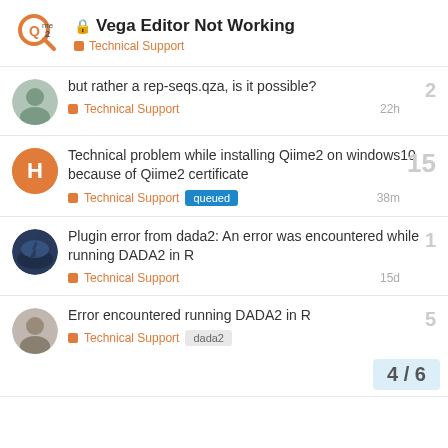Vega Editor Not Working — Technical Support
but rather a rep-seqs.qza, is it possible? — Technical Support — 22h — replies: 2
Technical problem while installing Qiime2 on windows10 because of Qiime2 certificate — Technical Support — queued — 38m — replies: 15
Plugin error from dada2: An error was encountered while running DADA2 in R — Technical Support — 15d — replies: 1
Error encountered running DADA2 in R — Technical Support — dada2 — replies: 5
4 / 6